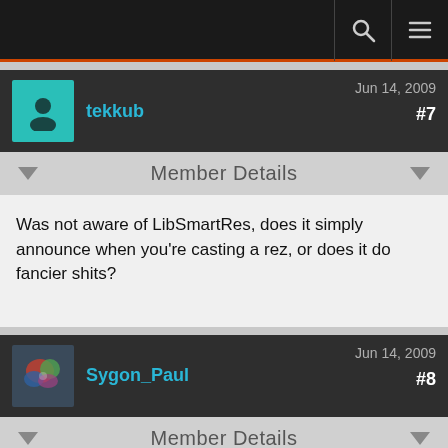Navigation bar with search and menu icons
tekkub — Jun 14, 2009 — #7
Member Details
Was not aware of LibSmartRes, does it simply announce when you're casting a rez, or does it do fancier shits?
Sygon_Paul — Jun 14, 2009 — #8
Member Details
There is no such thing as "LibSmartRes" … Methinks that would be an overly large, rather unwieldy library.